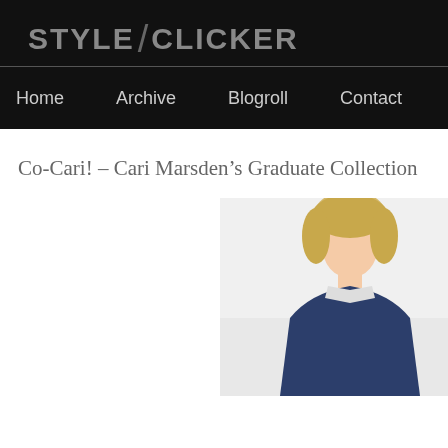STYLE / CLICKER
Home  Archive  Blogroll  Contact
Co-Cari! – Cari Marsden's Graduate Collection
[Figure (photo): A blonde model photographed from the waist up against a light grey/white background, partially cropped on the right side of the content area.]